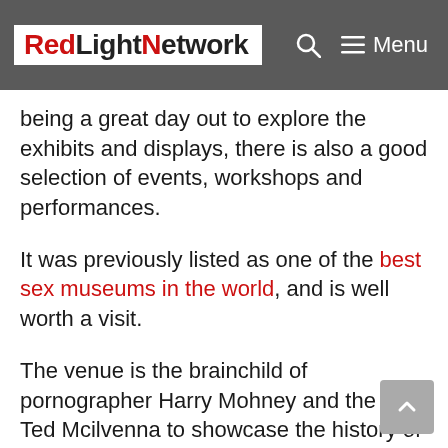RedLightNetwork — Menu
being a great day out to explore the exhibits and displays, there is also a good selection of events, workshops and performances.
It was previously listed as one of the best sex museums in the world, and is well worth a visit.
The venue is the brainchild of pornographer Harry Mohney and the Rev. Ted Mcilvenna to showcase the history of sex and sexuality and its place in our modern culture.
A sex-positive space that celebrates diversity in race, religion, sexual orientation and kinks, the museum is a great community